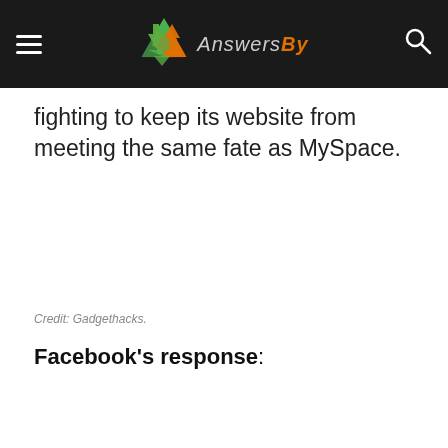AnswersBy
fighting to keep its website from meeting the same fate as MySpace.
Credit: Gadgethacks.
Facebook's response: